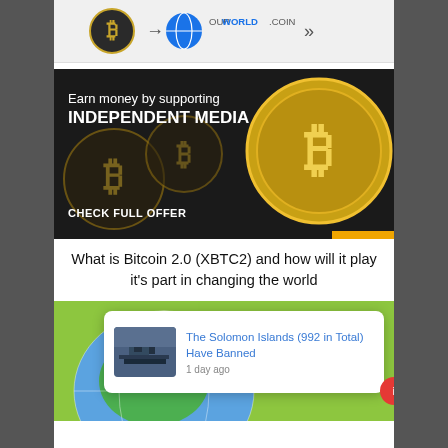[Figure (logo): OurWorldCoin advertisement banner with Bitcoin logo and arrow pointing to globe coin logo]
[Figure (infographic): Dark background ad banner: 'Earn money by supporting INDEPENDENT MEDIA' with Bitcoin gold coin image and 'CHECK FULL OFFER' button]
What is Bitcoin 2.0 (XBTC2) and how will it play it's part in changing the world
[Figure (illustration): Green background globe illustration with Bitcoin coin overlay]
The Solomon Islands (992 in Total) Have Banned
1 day ago